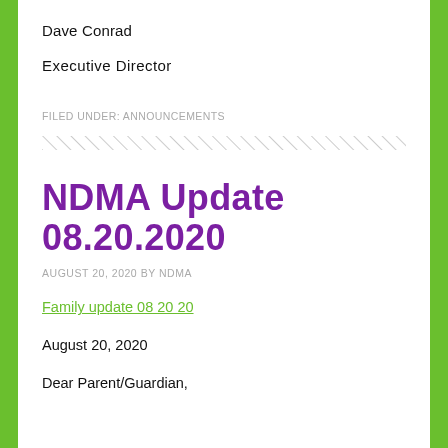Dave Conrad
Executive Director
FILED UNDER: ANNOUNCEMENTS
NDMA Update 08.20.2020
AUGUST 20, 2020 BY NDMA
Family update 08 20 20
August 20, 2020
Dear Parent/Guardian,